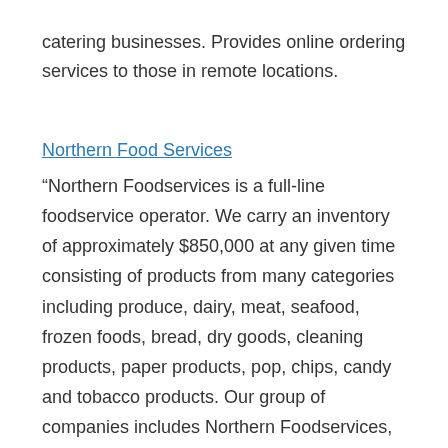catering businesses. Provides online ordering services to those in remote locations.
Northern Food Services
“Northern Foodservices is a full-line foodservice operator. We carry an inventory of approximately $850,000 at any given time consisting of products from many categories including produce, dairy, meat, seafood, frozen foods, bread, dry goods, cleaning products, paper products, pop, chips, candy and tobacco products. Our group of companies includes Northern Foodservices, Petersen & Auger, Territorial Tobacco Products, Northern Snack Foods, Articon Holdings and Walker Expediting with